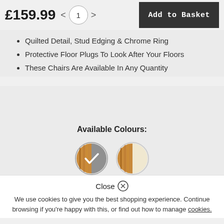£159.99
Quilted Detail, Stud Edging & Chrome Ring
Protective Floor Plugs To Look After Your Floors
These Chairs Are Available In Any Quantity
Available Colours:
[Figure (illustration): Two circular colour swatches: left swatch shows wood/grey split with a checkmark (selected), right swatch shows wood/cream split (unselected)]
Recommended
Close
We use cookies to give you the best shopping experience. Continue browsing if you're happy with this, or find out how to manage cookies.